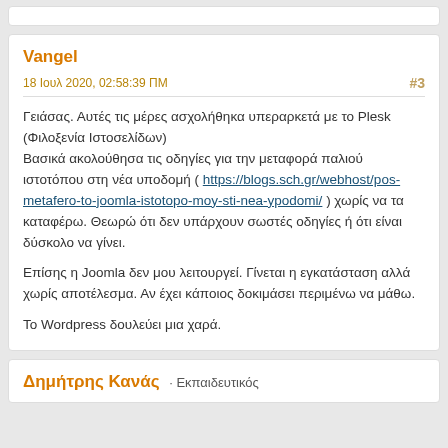Vangel
18 Ιουλ 2020, 02:58:39 ΠΜ
#3
Γειάσας. Αυτές τις μέρες ασχολήθηκα υπεραρκετά με το Plesk (Φιλοξενία Ιστοσελίδων)
Βασικά ακολούθησα τις οδηγίες για την μεταφορά παλιού ιστοτόπου στη νέα υποδομή ( https://blogs.sch.gr/webhost/pos-metafero-to-joomla-istotopo-moy-sti-nea-ypodomi/ ) χωρίς να τα καταφέρω. Θεωρώ ότι δεν υπάρχουν σωστές οδηγίες ή ότι είναι δύσκολο να γίνει.

Επίσης η Joomla δεν μου λειτουργεί. Γίνεται η εγκατάσταση αλλά χωρίς αποτέλεσμα. Αν έχει κάποιος δοκιμάσει περιμένω να μάθω.

Το Wordpress δουλεύει μια χαρά.
Δημήτρης Κανάς · Εκπαιδευτικός